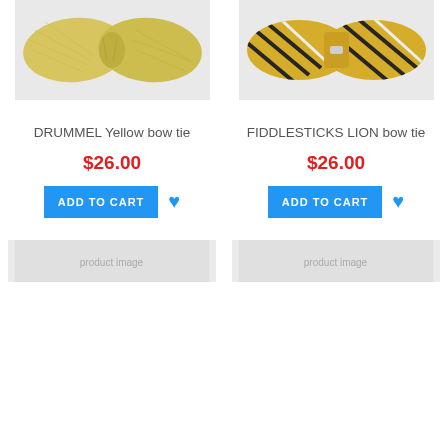[Figure (photo): Yellow herringbone solid bow tie (DRUMMEL Yellow bow tie) product photo on white background]
[Figure (photo): Yellow bow tie with black and white stripes (FIDDLESTICKS LION bow tie) product photo on white background]
DRUMMEL Yellow bow tie
$26.00
FIDDLESTICKS LION bow tie
$26.00
[Figure (photo): Partial product image at bottom left (cropped bow tie or accessory)]
[Figure (photo): Partial product image at bottom right (cropped bow tie or accessory)]